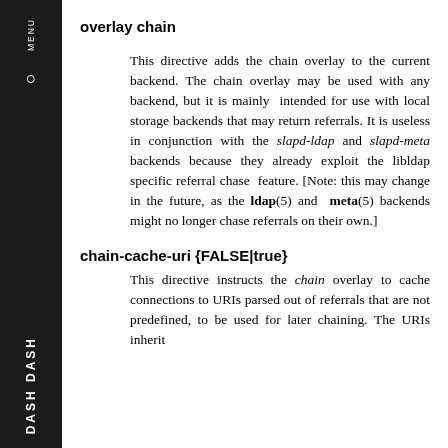overlay chain
This directive adds the chain overlay to the current backend. The chain overlay may be used with any backend, but it is mainly intended for use with local storage backends that may return referrals. It is useless in conjunction with the slapd-ldap and slapd-meta backends because they already exploit the libldap specific referral chase feature. [Note: this may change in the future, as the ldap(5) and meta(5) backends might no longer chase referrals on their own.]
chain-cache-uri {FALSE|true}
This directive instructs the chain overlay to cache connections to URIs parsed out of referrals that are not predefined, to be used for later chaining. The URIs inherit...